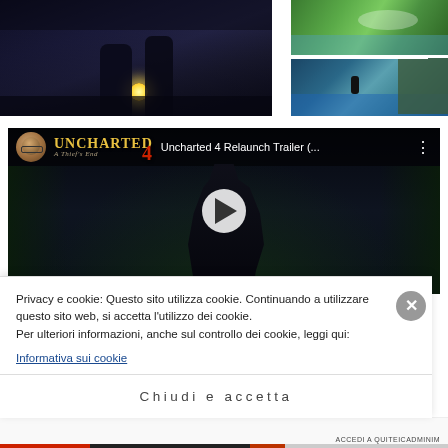[Figure (screenshot): Screenshot showing game images: left large dark fantasy scene with two figures and glowing orb, top right lush green tropical island aerial view, bottom right tropical beach/cliff scene with figure silhouette]
[Figure (screenshot): YouTube video embed thumbnail for 'Uncharted 4 Relaunch Trailer (...)' showing dark jungle scene with character silhouette, play button in center, channel avatar and title bar at top]
Privacy e cookie: Questo sito utilizza cookie. Continuando a utilizzare questo sito web, si accetta l'utilizzo dei cookie.
Per ulteriori informazioni, anche sul controllo dei cookie, leggi qui:
Informativa sui cookie
Chiudi e accetta